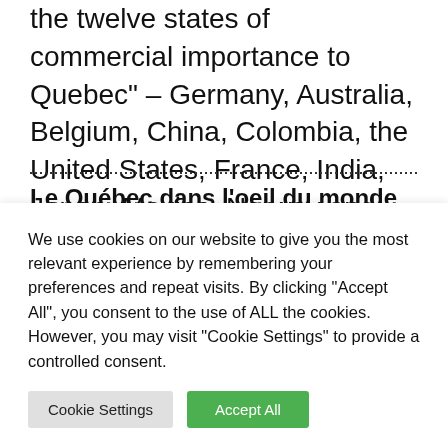the twelve states of commercial importance to Quebec" – Germany, Australia, Belgium, China, Colombia, the United States, France, India, Japan, Mexico, Norway and the United States States Kingdom – debunks myths, including claims that Quebec's culture and French language draw crowds.
Le Québec dans l'oeil du monde (rang sur 12)
We use cookies on our website to give you the most relevant experience by remembering your preferences and repeat visits. By clicking "Accept All", you consent to the use of ALL the cookies. However, you may visit "Cookie Settings" to provide a controlled consent.